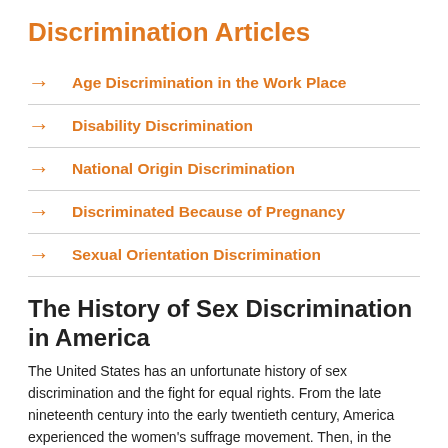Discrimination Articles
Age Discrimination in the Work Place
Disability Discrimination
National Origin Discrimination
Discriminated Because of Pregnancy
Sexual Orientation Discrimination
The History of Sex Discrimination in America
The United States has an unfortunate history of sex discrimination and the fight for equal rights. From the late nineteenth century into the early twentieth century, America experienced the women's suffrage movement. Then, in the 1960s, a second wave of feminism swept through as women continued to fight for equal rights in employment. Today,